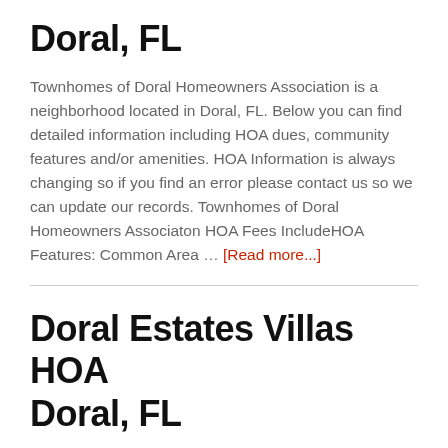Doral, FL
Townhomes of Doral Homeowners Association is a neighborhood located in Doral, FL. Below you can find detailed information including HOA dues, community features and/or amenities. HOA Information is always changing so if you find an error please contact us so we can update our records. Townhomes of Doral Homeowners Associaton HOA Fees IncludeHOA Features: Common Area … [Read more...]
Doral Estates Villas HOA Doral, FL
Doral Estates Villas Homeowners Association is the d...